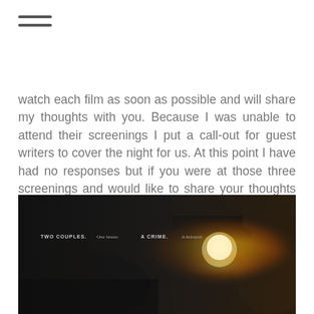[Figure (other): Hamburger menu icon with three horizontal lines]
watch each film as soon as possible and will share my thoughts with you. Because I was unable to attend their screenings I put a call-out for guest writers to cover the night for us. At this point I have had no responses but if you were at those three screenings and would like to share your thoughts with an article (not unlike this one) then we would LOVE to include it.
[Figure (photo): Movie poster image showing two people in a dark, atmospheric scene with a glowing light. Text reads: TWO COUPLES. One house. A CRIME. A betrayal.]